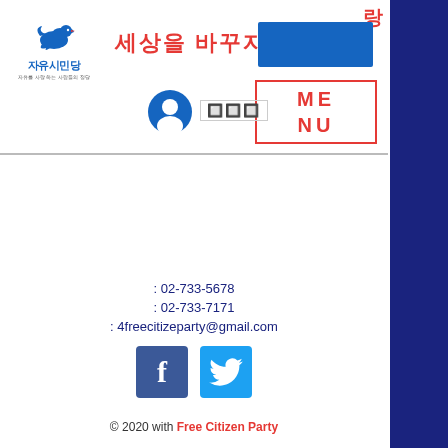[Figure (logo): 자유시민당 (Free Citizen Party) logo with blue dove bird and Korean text]
세상을 바꾸자!
[Figure (screenshot): Blue rectangle button header area]
[Figure (screenshot): MENU box with red border showing ME NU text]
: 02-733-5678
: 02-733-7171
: 4freecitizeparty@gmail.com
[Figure (logo): Facebook and Twitter social media icons]
© 2020 with Free Citizen Party